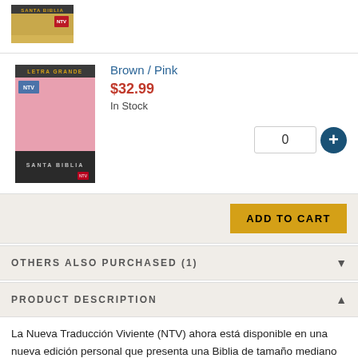[Figure (photo): Top product row showing a book cover thumbnail of Santa Biblia (NTV) in yellow/gold color with a small red icon]
[Figure (photo): Book cover of Santa Biblia Letra Grande NTV edition in pink and black/brown duotone colors]
Brown / Pink
$32.99
In Stock
0
ADD TO CART
OTHERS ALSO PURCHASED (1)
PRODUCT DESCRIPTION
La Nueva Traducción Viviente (NTV) ahora está disponible en una nueva edición personal que presenta una Biblia de tamaño mediano especial con letra grande. La edición personal contiene página de presentación, introducciones a cada libro, palabras de Cristo en rojo, una concordancia,